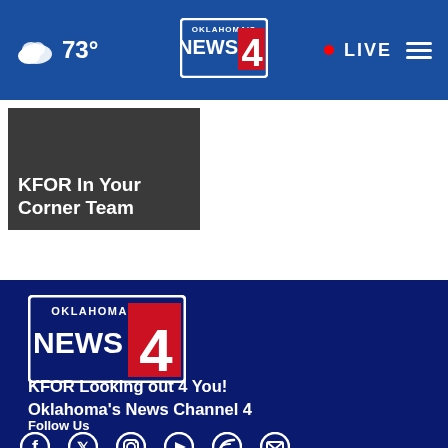73° | LIVE | Oklahoma's News 4
[Figure (screenshot): KFOR Oklahoma's News 4 website screenshot showing navigation bar with weather (73°), center logo, LIVE button and hamburger menu]
KFOR In Your Corner Team
[Figure (logo): Oklahoma's News 4 KFOR logo - white border box with NEWS 4 text and red 4 graphic on dark blue background]
KFOR Looking out 4 You! Oklahoma's News Channel 4
Follow Us